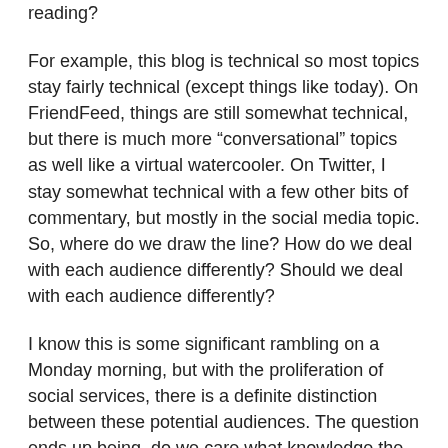reading?
For example, this blog is technical so most topics stay fairly technical (except things like today). On FriendFeed, things are still somewhat technical, but there is much more “conversational” topics as well like a virtual watercooler. On Twitter, I stay somewhat technical with a few other bits of commentary, but mostly in the social media topic. So, where do we draw the line? How do we deal with each audience differently? Should we deal with each audience differently?
I know this is some significant rambling on a Monday morning, but with the proliferation of social services, there is a definite distinction between these potential audiences. The question ends up being, do we care what knowledge the reader has? Using Chris Brogan’s